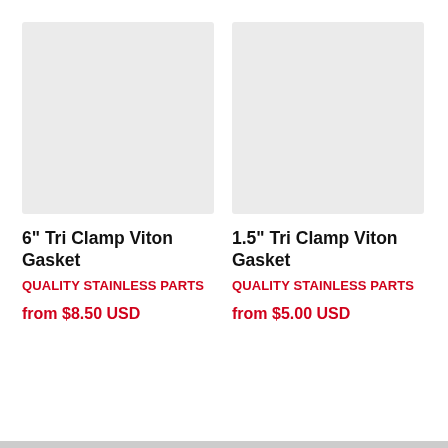[Figure (photo): Product image placeholder (light gray rectangle) for 6 inch Tri Clamp Viton Gasket]
6" Tri Clamp Viton Gasket
QUALITY STAINLESS PARTS
from $8.50 USD
[Figure (photo): Product image placeholder (light gray rectangle) for 1.5 inch Tri Clamp Viton Gasket]
1.5" Tri Clamp Viton Gasket
QUALITY STAINLESS PARTS
from $5.00 USD